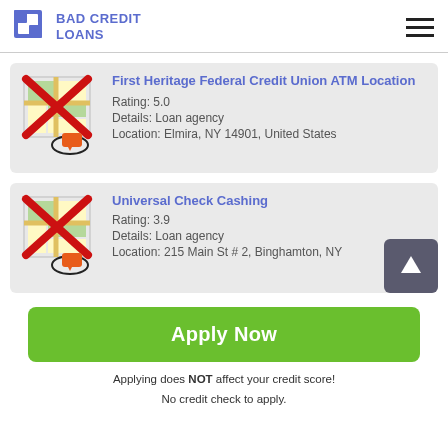BAD CREDIT LOANS
First Heritage Federal Credit Union ATM Location
Rating: 5.0
Details: Loan agency
Location: Elmira, NY 14901, United States
Universal Check Cashing
Rating: 3.9
Details: Loan agency
Location: 215 Main St # 2, Binghamton, NY
Apply Now
Applying does NOT affect your credit score!
No credit check to apply.